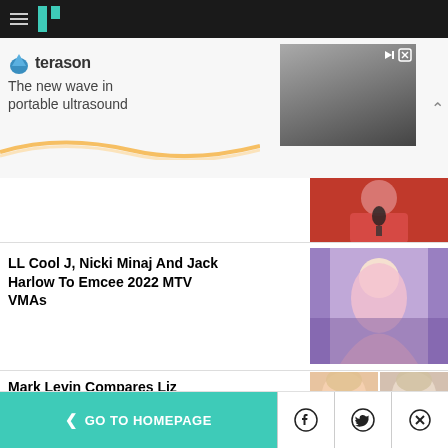HuffPost navigation bar with hamburger menu and logo
[Figure (infographic): Terason advertisement banner: 'The new wave in portable ultrasound' with person holding device image]
[Figure (photo): Red-dressed person holding microphone, partially visible]
LL Cool J, Nicki Minaj And Jack Harlow To Emcee 2022 MTV VMAs
[Figure (photo): Nicki Minaj in pink ball gown at formal event]
Mark Levin Compares Liz
[Figure (photo): Two faces side by side, partially visible]
< GO TO HOMEPAGE  [Facebook] [Twitter] [X]